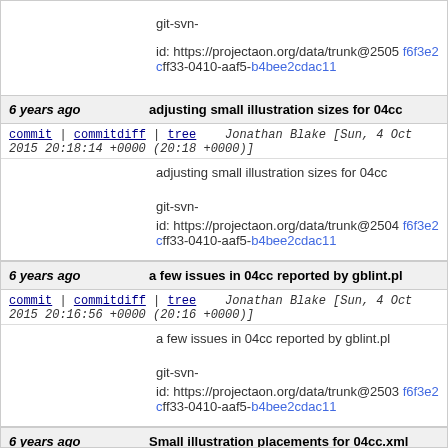git-svn-id: https://projectaon.org/data/trunk@2505 f6f3e2c...ff33-0410-aaf5-b4bee2cdac11
6 years ago   adjusting small illustration sizes for 04cc
commit | commitdiff | tree   Jonathan Blake [Sun, 4 Oct 2015 20:18:14 +0000 (20:18 +0000)]
adjusting small illustration sizes for 04cc

git-svn-id: https://projectaon.org/data/trunk@2504 f6f3e2c...ff33-0410-aaf5-b4bee2cdac11
6 years ago   a few issues in 04cc reported by gblint.pl
commit | commitdiff | tree   Jonathan Blake [Sun, 4 Oct 2015 20:16:56 +0000 (20:16 +0000)]
a few issues in 04cc reported by gblint.pl

git-svn-id: https://projectaon.org/data/trunk@2503 f6f3e2c...ff33-0410-aaf5-b4bee2cdac11
6 years ago   Small illustration placements for 04cc.xml